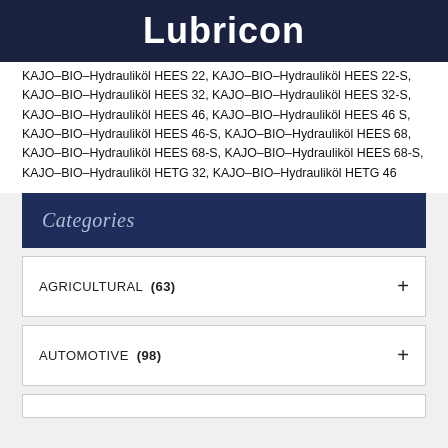Lubricon
KAJO-BIO-Hydrauliköl HEES 22, KAJO-BIO-Hydrauliköl HEES 22-S, KAJO-BIO-Hydrauliköl HEES 32, KAJO-BIO-Hydrauliköl HEES 32-S, KAJO-BIO-Hydrauliköl HEES 46, KAJO-BIO-Hydrauliköl HEES 46 S, KAJO-BIO-Hydrauliköl HEES 46-S, KAJO-BIO-Hydrauliköl HEES 68, KAJO-BIO-Hydrauliköl HEES 68-S, KAJO-BIO-Hydrauliköl HEES 68-S, KAJO-BIO-Hydrauliköl HETG 32, KAJO-BIO-Hydrauliköl HETG 46
Categories
AGRICULTURAL (63)
AUTOMOTIVE (98)